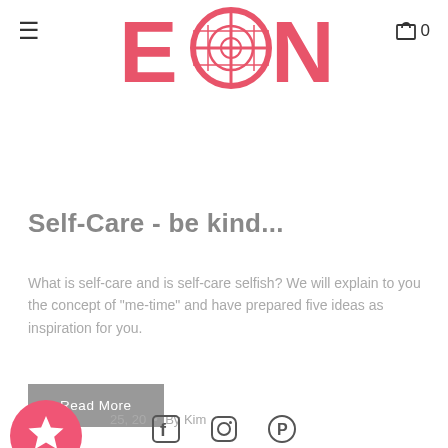EONNI — navigation header with hamburger menu and cart (0)
[Figure (logo): EONNI brand logo in pink/salmon color with a decorative circular symbol replacing the O]
Self-Care - be kind...
What is self-care and is self-care selfish? We will explain to you the concept of "me-time" and have prepared five ideas as inspiration for you.
Read More
25, 20  •  By Kim
[Figure (illustration): Pink circular star/bookmark button icon]
[Figure (illustration): Social media icons row: Facebook, Instagram, Pinterest]